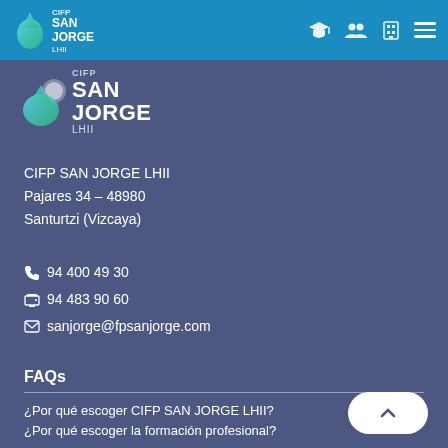CIFP SAN JORGE LHII navigation bar with logo and icons
[Figure (logo): CIFP SAN JORGE LHII logo with water drop graphic in footer area]
CIFP SAN JORGE LHII
Pajares 34 – 48980
Santurtzi (Vizcaya)
📞 94 400 49 30
🖨 94 483 90 60
✉ sanjorge@fpsanjorge.com
FAQs
¿Por qué escoger CIFP SAN JORGE LHII?
¿Por qué escoger la formación profesional?
Acceso